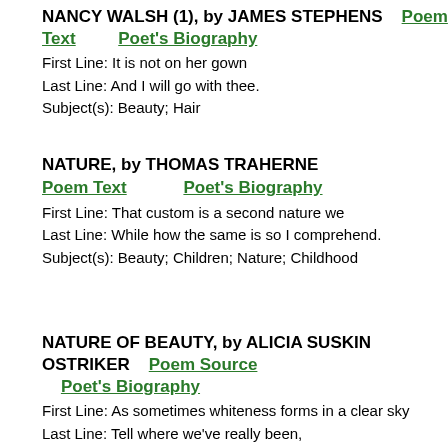NANCY WALSH (1), by JAMES STEPHENS   Poem Text   Poet's Biography
First Line: It is not on her gown
Last Line: And I will go with thee.
Subject(s): Beauty; Hair
NATURE, by THOMAS TRAHERNE   Poem Text   Poet's Biography
First Line: That custom is a second nature we
Last Line: While how the same is so I comprehend.
Subject(s): Beauty; Children; Nature; Childhood
NATURE OF BEAUTY, by ALICIA SUSKIN OSTRIKER   Poem Source   Poet's Biography
First Line: As sometimes whiteness forms in a clear sky
Last Line: Tell where we've really been,